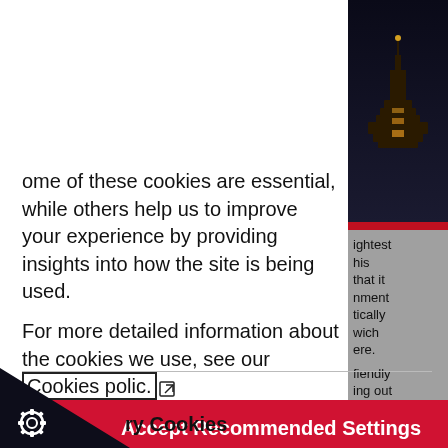ome of these cookies are essential, while others help us to improve your experience by providing insights into how the site is being used.
For more detailed information about the cookies we use, see our Cookies polic.
[Figure (photo): Night-time photo of an illuminated pagoda or gazebo structure on the right side of the page]
ightest
his
that it
nment
tically
nich
ere.
fiendly
ing out
ill
[Figure (other): Accept Recommended Settings button (red)]
[Figure (other): I Do Not Accept button (black)]
[Figure (other): Dark triangle with cogwheel icon in bottom left corner]
ry Cookies